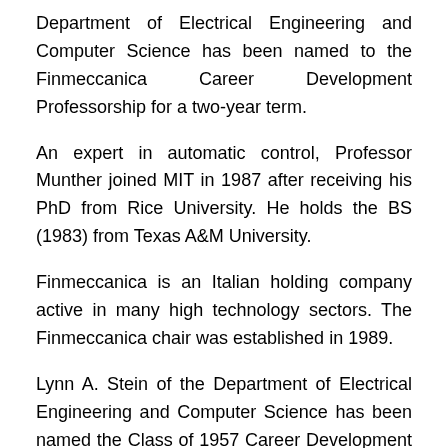Department of Electrical Engineering and Computer Science has been named to the Finmeccanica Career Development Professorship for a two-year term.
An expert in automatic control, Professor Munther joined MIT in 1987 after receiving his PhD from Rice University. He holds the BS (1983) from Texas A&M University.
Finmeccanica is an Italian holding company active in many high technology sectors. The Finmeccanica chair was established in 1989.
Lynn A. Stein of the Department of Electrical Engineering and Computer Science has been named the Class of 1957 Career Development Assistant Professor for a three-year term.